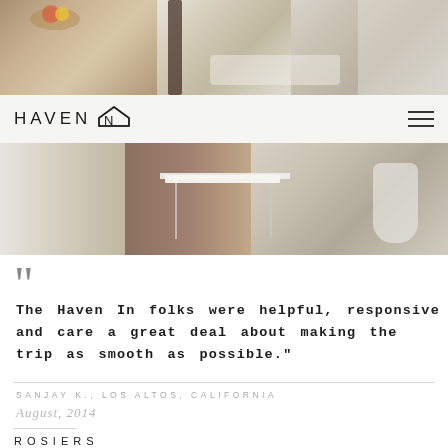[Figure (photo): Interior photo of a modern apartment — dining and living room areas with white furniture and wooden floors, shown as a banner at top]
[Figure (logo): HAVEN IN logo with stylized house/arrow icon, and hamburger menu icon on the right]
[Figure (photo): Second interior photo showing a white desk/table and modern white chair on wooden floor]
The Haven In folks were helpful, responsive and care a great deal about making the trip as smooth as possible."
SANJAY K., LOS ALTOS, CALIFORNIA
August, 2014
ROSIERS